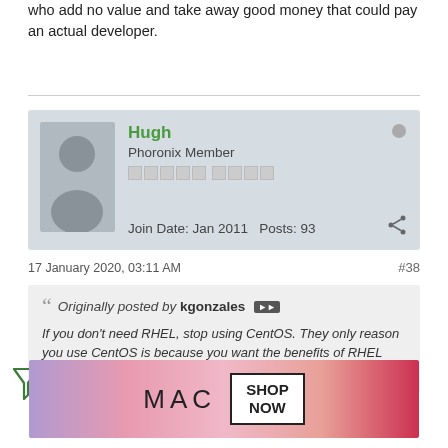who add no value and take away good money that could pay an actual developer.
Hugh
Phoronix Member
Join Date: Jan 2011  Posts: 93
17 January 2020, 03:11 AM
#38
Originally posted by kgonzales
If you don't need RHEL, stop using CentOS. They only reason you use CentOS is because you want the benefits of RHEL without paying anything or contributing.
[Figure (photo): MAC cosmetics advertisement showing lipsticks with SHOP NOW button]